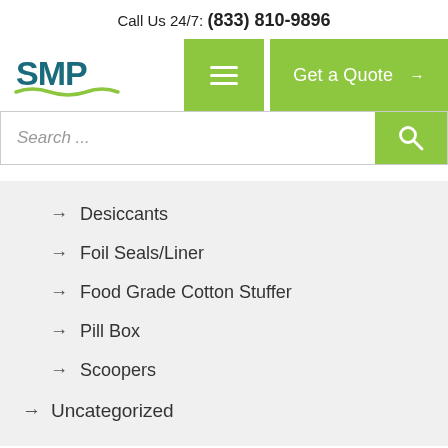Call Us 24/7: (833) 810-9896
[Figure (logo): SMP logo with teal bold text and green wave underline]
Get a Quote →
Search ...
→ Desiccants
→ Foil Seals/Liner
→ Food Grade Cotton Stuffer
→ Pill Box
→ Scoopers
→ Uncategorized